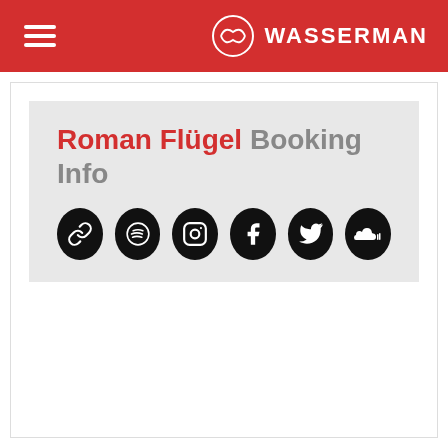Wasserman
Roman Flügel Booking Info
[Figure (infographic): Six social media icon buttons (link, Spotify, Instagram, Facebook, Twitter, SoundCloud) displayed as black circles with white icons]